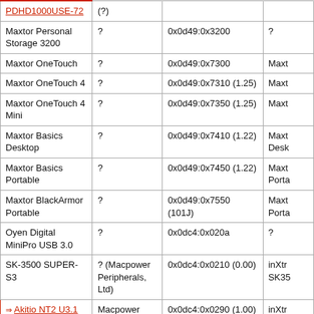| Device | Vendor | ID (version) | Notes |
| --- | --- | --- | --- |
| PDHD1000USE-72 | (?) |  |  |
| Maxtor Personal Storage 3200 | ? | 0x0d49:0x3200 | ? |
| Maxtor OneTouch | ? | 0x0d49:0x7300 | Maxt... |
| Maxtor OneTouch 4 | ? | 0x0d49:0x7310 (1.25) | Maxt... |
| Maxtor OneTouch 4 Mini | ? | 0x0d49:0x7350 (1.25) | Maxt... |
| Maxtor Basics Desktop | ? | 0x0d49:0x7410 (1.22) | Maxt... Desk... |
| Maxtor Basics Portable | ? | 0x0d49:0x7450 (1.22) | Maxt... Porta... |
| Maxtor BlackArmor Portable | ? | 0x0d49:0x7550 (101J) | Maxt... Porta... |
| Oyen Digital MiniPro USB 3.0 | ? | 0x0dc4:0x020a | ? |
| SK-3500 SUPER-S3 | ? (Macpower Peripherals, Ltd) | 0x0dc4:0x0210 (0.00) | inXtr... SK35... |
| Akitio NT2 U3.1 2-Bay USB 3.1 Enclosure | Macpower Peripherals, Ltd | 0x0dc4:0x0290 (1.00) | inXtr... AKiT... |
| USB IDE/SATA adapter | JMicron | 0x0df6:0x214a | Sitec... IDE/... Adap... |
| Cowon iAudio X5 | ? | 0x0e21:0x0510 (1.00) | Cow... |